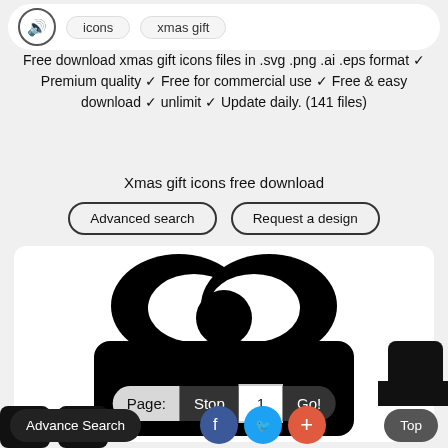icons | xmas gift
Free download xmas gift icons files in .svg .png .ai .eps format ✓ Premium quality ✓ Free for commercial use ✓ Free & easy download ✓ unlimit ✓ Update daily. (141 files)
Xmas gift icons free download
Advanced search | Request a design
[Figure (illustration): Black silhouette gift box icon with bow on white rounded rectangle card]
Page: Stop 1 Go!
Advance Search | Facebook | Twitter | + | Top